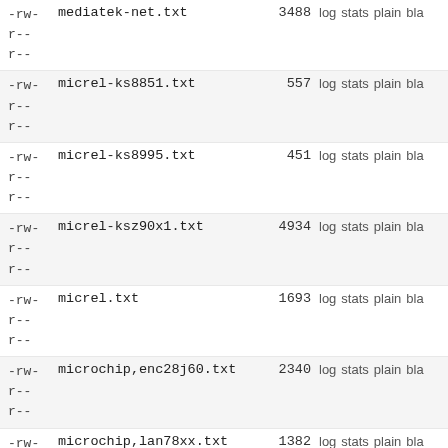| permissions | filename | size | actions |
| --- | --- | --- | --- |
| -rw-r--r-- | mediatek-net.txt | 3488 | log stats plain bla |
| -rw-r--r-- | micrel-ks8851.txt | 557 | log stats plain bla |
| -rw-r--r-- | micrel-ks8995.txt | 451 | log stats plain bla |
| -rw-r--r-- | micrel-ksz90x1.txt | 4934 | log stats plain bla |
| -rw-r--r-- | micrel.txt | 1693 | log stats plain bla |
| -rw-r--r-- | microchip,enc28j60.txt | 2340 | log stats plain bla |
| -rw-r--r-- | microchip,lan78xx.txt | 1382 | log stats plain bla |
| -rw-r--r-- | mscc-miim.txt | 770 | log stats plain bla |
| -rw-r--r-- | mscc-ocelot.txt | 2340 | log stats plain bla |
| -rw- |  |  |  |